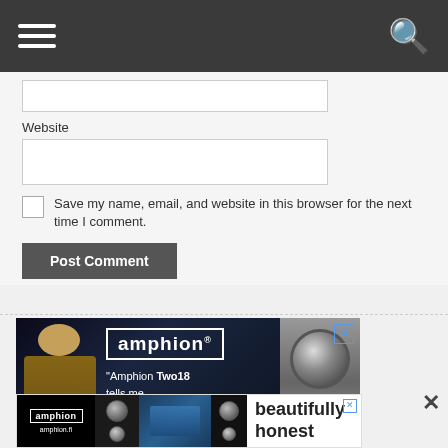[Figure (screenshot): Dark grey navigation bar with hamburger menu icon on left and search icon on right]
Website
[Figure (screenshot): Website input text field (empty)]
[Figure (screenshot): Checkbox (unchecked)]
Save my name, email, and website in this browser for the next time I comment.
[Figure (screenshot): Post Comment button (dark grey)]
[Figure (screenshot): Amphion speaker advertisement banner showing 'amphion Two18 tells me the truth' quote with speaker image]
[Figure (screenshot): Small Amphion ad strip at bottom showing logo, speakers, and 'beautifully honest' text]